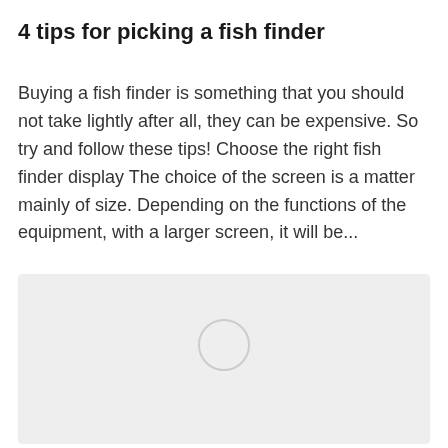4 tips for picking a fish finder
Buying a fish finder is something that you should not take lightly after all, they can be expensive. So try and follow these tips! Choose the right fish finder display The choice of the screen is a matter mainly of size. Depending on the functions of the equipment, with a larger screen, it will be...
[Figure (photo): Loading placeholder image with a light gray background and a circular loading indicator in the center]